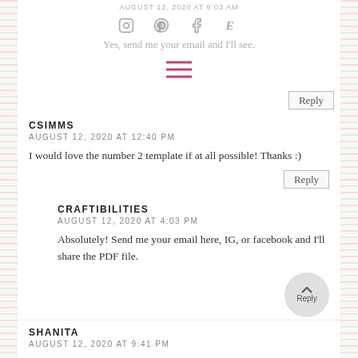AUGUST 12, 2020 AT 9:03 AM
Yes, send me your email and I'll see.
[Figure (other): Social media icons: Instagram, Pinterest, Facebook, Etsy]
[Figure (other): Hamburger menu icon in pink/red]
Reply
CSIMMS
AUGUST 12, 2020 AT 12:40 PM
I would love the number 2 template if at all possible! Thanks :)
Reply
CRAFTIBILITIES
AUGUST 12, 2020 AT 4:03 PM
Absolutely! Send me your email here, IG, or facebook and I'll share the PDF file.
Reply
SHANITA
AUGUST 12, 2020 AT 9:41 PM